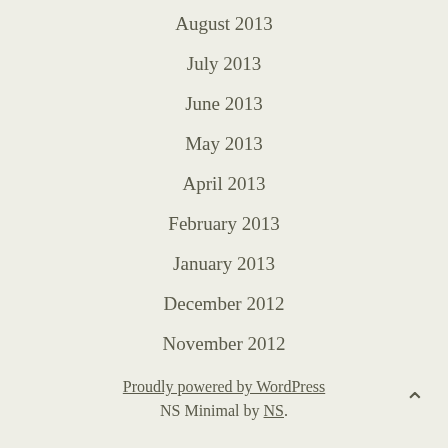August 2013
July 2013
June 2013
May 2013
April 2013
February 2013
January 2013
December 2012
November 2012
Proudly powered by WordPress
NS Minimal by NS.